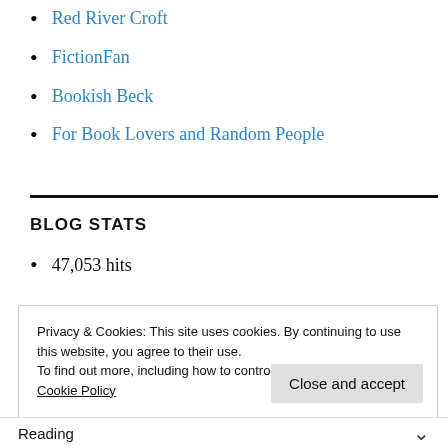Red River Croft
FictionFan
Bookish Beck
For Book Lovers and Random People
BLOG STATS
47,053 hits
Privacy & Cookies: This site uses cookies. By continuing to use this website, you agree to their use.
To find out more, including how to control cookies, see here:
Cookie Policy
Close and accept
Reading